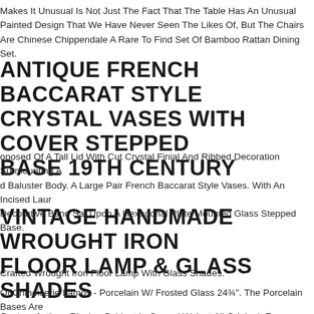Makes It Unusual Is Not Just The Fact That The Table Has An Unusual Painted Design That We Have Never Seen The Likes Of, But The Chairs Are Chinese Chippendale A Rare To Find Set Of Bamboo Rattan Dining Set.
ANTIQUE FRENCH BACCARAT STYLE CRYSTAL VASES WITH COVER STEPPED BASE 19TH CENTURY
oposed Of A Tall Lid With Cut Crystal Finial And Ribbed Decoration Surmounting A d Baluster Body. A Large Pair French Baccarat Style Vases. With An Incised Laur Decorative Band Sat Upon A Hexagonal Plate Mounted Glass Stepped Base.
VINTAGE HANDMADE WROUGHT IRON FLOOR LAMP & GLASS SHADES
Crafted Wrought Iron Floor Lamp With Glass Shades.
Of Chinoiserie Lamps - Porcelain W/ Frosted Glass 24¾". The Porcelain Bases Are rated With Chinoiserie Dcor And Sit On Bronze Feet.
Century Antique Display Cabinet In Carved Walnut All Original- From Austria. Bea